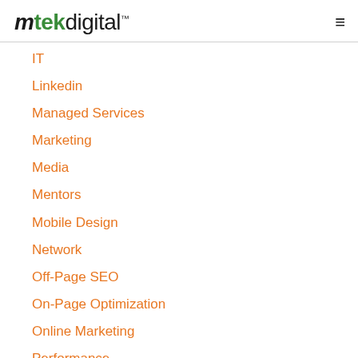mtekdigital™
IT
Linkedin
Managed Services
Marketing
Media
Mentors
Mobile Design
Network
Off-Page SEO
On-Page Optimization
Online Marketing
Performance
Podcast